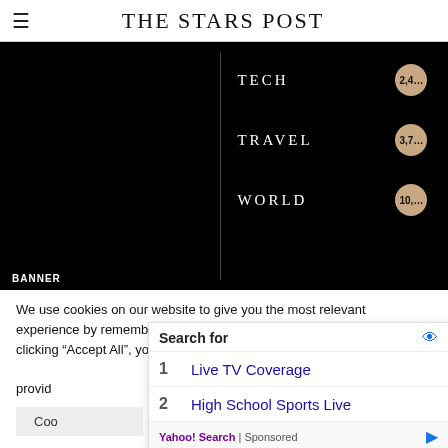THE STARS POST
[Figure (screenshot): Black navigation menu panel showing TECH (2,4x), TRAVEL (3,7x), WORLD (10,x) categories with badges and a vertical divider line. Bottom label: BANNER]
We use cookies on our website to give you the most relevant experience by remembering your preferences and repeat visits. By clicking “Accept All”, you consent to the use of ALL the cookies. However, you may visit “Cookie Settings” to provide a controlled consent.
[Figure (screenshot): Yahoo Search sponsored ad overlay with: Search for (with eye icon), 1 Live TV Coverage, 2 High School Sports Live, Yahoo! Search | Sponsored footer]